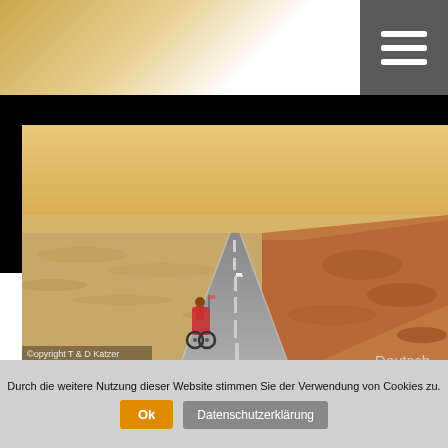[Figure (photo): Desert road stretching into the distance with a cyclist/rickshaw in the foreground left, a car in the middle distance, and arid reddish rocky terrain on the right. Copyright T & D Katzer watermark in lower left.]
Deutsch
The Great Journey
Current Expedition
Since the year 2005 we report in our Blog about
Durch die weitere Nutzung dieser Website stimmen Sie der Verwendung von Cookies zu.
Ok
Datenschutzerklärung